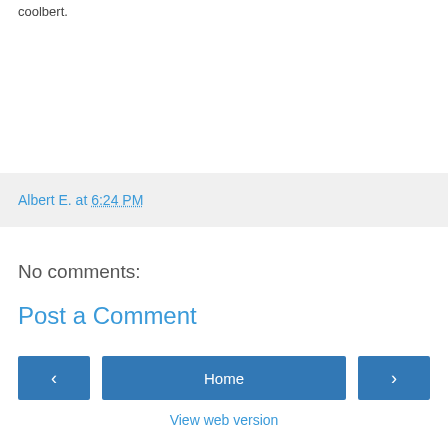coolbert.
Albert E. at 6:24 PM
No comments:
Post a Comment
‹
Home
›
View web version